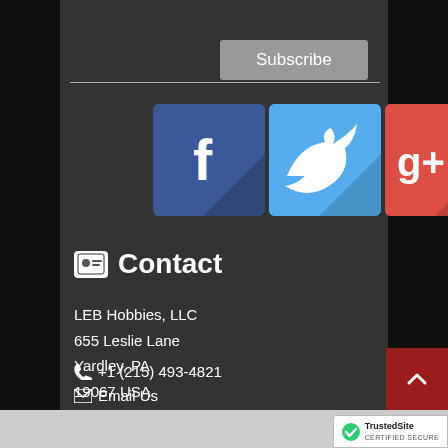Subscribe
[Figure (logo): Social media icons: Facebook (blue square with 'f'), Twitter (light blue square with bird), Google+ (red square with 'g+')]
Contact
LEB Hobbies, LLC
655 Leslie Lane
Yardley, PA
19067 USA
+1 (215) 493-4821
Email Us
[Figure (logo): TrustedSite Certified Secure badge]